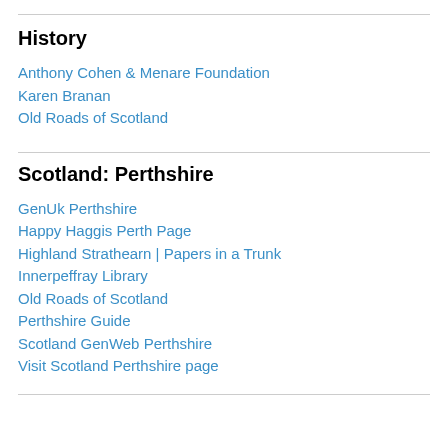History
Anthony Cohen & Menare Foundation
Karen Branan
Old Roads of Scotland
Scotland: Perthshire
GenUk Perthshire
Happy Haggis Perth Page
Highland Strathearn | Papers in a Trunk
Innerpeffray Library
Old Roads of Scotland
Perthshire Guide
Scotland GenWeb Perthshire
Visit Scotland Perthshire page